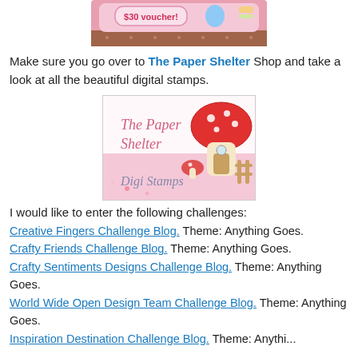[Figure (illustration): Top banner showing a $30 voucher promotional image with decorative pink/brown elements]
Make sure you go over to The Paper Shelter Shop and take a look at all the beautiful digital stamps.
[Figure (logo): The Paper Shelter Digi Stamps logo featuring a mushroom house illustration with pink and white toadstool]
I would like to enter the following challenges:
Creative Fingers Challenge Blog.  Theme:  Anything Goes.
Crafty Friends Challenge Blog.  Theme:  Anything Goes.
Crafty Sentiments Designs Challenge Blog.  Theme:  Anything Goes.
World Wide Open Design Team Challenge Blog.  Theme:  Anything Goes.
Inspiration Destination Challenge Blog.  Theme:  Anything Goes.